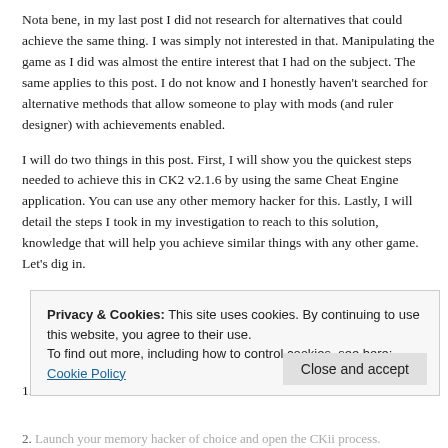Nota bene, in my last post I did not research for alternatives that could achieve the same thing. I was simply not interested in that. Manipulating the game as I did was almost the entire interest that I had on the subject. The same applies to this post. I do not know and I honestly haven't searched for alternative methods that allow someone to play with mods (and ruler designer) with achievements enabled.
I will do two things in this post. First, I will show you the quickest steps needed to achieve this in CK2 v2.1.6 by using the same Cheat Engine application. You can use any other memory hacker for this. Lastly, I will detail the steps I took in my investigation to reach to this solution, knowledge that will help you achieve similar things with any other game. Let's dig in.
Privacy & Cookies: This site uses cookies. By continuing to use this website, you agree to their use. To find out more, including how to control cookies, see here: Cookie Policy
Close and accept
1.
2. Launch your memory hacker of choice and open the CKii process.